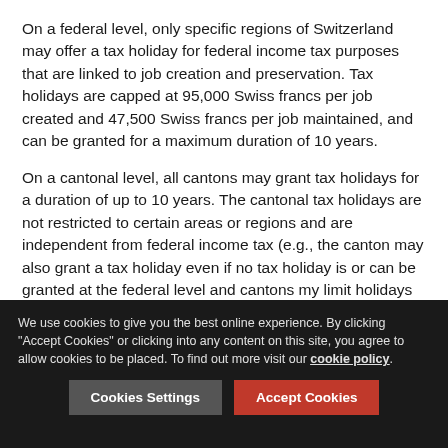On a federal level, only specific regions of Switzerland may offer a tax holiday for federal income tax purposes that are linked to job creation and preservation. Tax holidays are capped at 95,000 Swiss francs per job created and 47,500 Swiss francs per job maintained, and can be granted for a maximum duration of 10 years.
On a cantonal level, all cantons may grant tax holidays for a duration of up to 10 years. The cantonal tax holidays are not restricted to certain areas or regions and are independent from federal income tax (e.g., the canton may also grant a tax holiday even if no tax holiday is or can be granted at the federal level and cantons my limit holidays to certain types of taxes, for example, capital tax instead of corporate income tax). Cantonal requirements for tax holidays are linked to the investment amount and jobs created in the process. To the
We use cookies to give you the best online experience. By clicking "Accept Cookies" or clicking into any content on this site, you agree to allow cookies to be placed. To find out more visit our cookie policy.